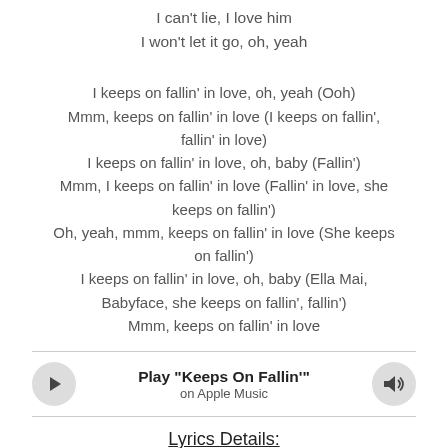I can't lie, I love him
I won't let it go, oh, yeah
I keeps on fallin' in love, oh, yeah (Ooh)
Mmm, keeps on fallin' in love (I keeps on fallin', fallin' in love)
I keeps on fallin' in love, oh, baby (Fallin')
Mmm, I keeps on fallin' in love (Fallin' in love, she keeps on fallin')
Oh, yeah, mmm, keeps on fallin' in love (She keeps on fallin')
I keeps on fallin' in love, oh, baby (Ella Mai, Babyface, she keeps on fallin', fallin')
Mmm, keeps on fallin' in love
[Figure (other): Apple Music player bar with play button, 'Play "Keeps On Fallin"' title, 'on Apple Music' subtitle, and volume button]
Lyrics Details:
Written by: Daryl Simmons, Dernst Emile II, Ella Mai